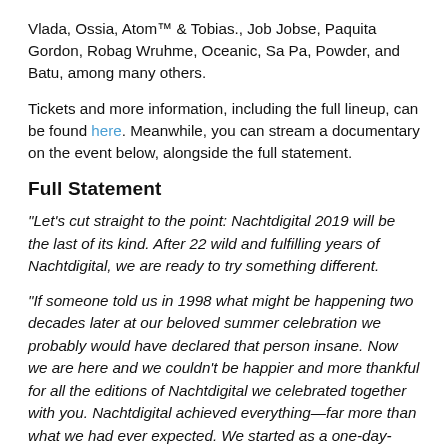Vlada, Ossia, Atom™ & Tobias., Job Jobse, Paquita Gordon, Robag Wruhme, Oceanic, Sa Pa, Powder, and Batu, among many others.
Tickets and more information, including the full lineup, can be found here. Meanwhile, you can stream a documentary on the event below, alongside the full statement.
Full Statement
“Let’s cut straight to the point: Nachtdigital 2019 will be the last of its kind. After 22 wild and fulfilling years of Nachtdigital, we are ready to try something different.
“If someone told us in 1998 what might be happening two decades later at our beloved summer celebration we probably would have declared that person insane. Now we are here and we couldn’t be happier and more thankful for all the editions of Nachtdigital we celebrated together with you. Nachtdigital achieved everything—far more than what we had ever expected. We started as a one-day-rave with record players on the balcony of the main building at the